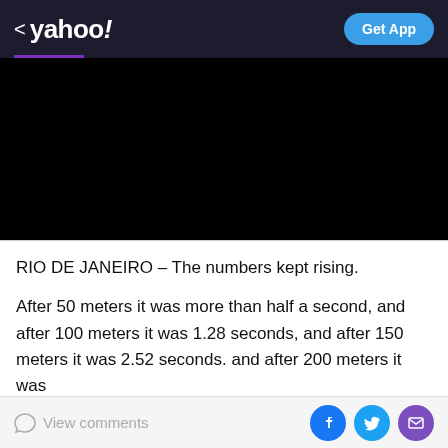< yahoo!   Get App
[Figure (other): Black video player area]
RIO DE JANEIRO – The numbers kept rising.
After 50 meters it was more than half a second, and after 100 meters it was 1.28 seconds, and after 150 meters it was 2.52 seconds. and after 200 meters it was
View comments